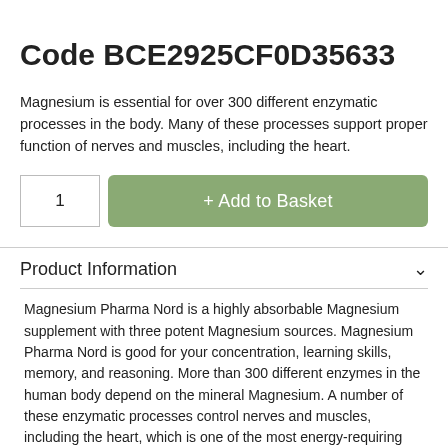Code BCE2925CF0D35633
Magnesium is essential for over 300 different enzymatic processes in the body. Many of these processes support proper function of nerves and muscles, including the heart.
1   + Add to Basket
Product Information
Magnesium Pharma Nord is a highly absorbable Magnesium supplement with three potent Magnesium sources. Magnesium Pharma Nord is good for your concentration, learning skills, memory, and reasoning. More than 300 different enzymes in the human body depend on the mineral Magnesium. A number of these enzymatic processes control nerves and muscles, including the heart, which is one of the most energy-requiring muscles in the body. Also, Magnesium is necessary for healthy bones and teeth. Magnesium Pharma Nord has the advantage that it contains a blend of different Magnesium sources that